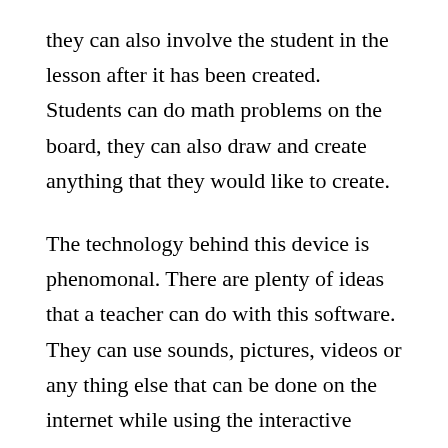they can also involve the student in the lesson after it has been created. Students can do math problems on the board, they can also draw and create anything that they would like to create.
The technology behind this device is phenomonal. There are plenty of ideas that a teacher can do with this software. They can use sounds, pictures, videos or any thing else that can be done on the internet while using the interactive whiteboard.
With the interactive whiteboard, a teacher can also show students presentations, notes and other websites. For students who learn from repeated things, a teacher can use the whiteboard to record audio and visual files for them to